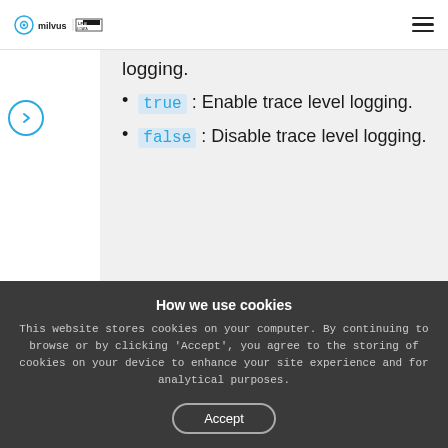milvus | LF AI & DATA
logging.
true : Enable trace level logging.
false : Disable trace level logging.
How we use cookies
This website stores cookies on your computer. By continuing to browse or by clicking 'Accept', you agree to the storing of cookies on your device to enhance your site experience and for analytical purposes.
Accept